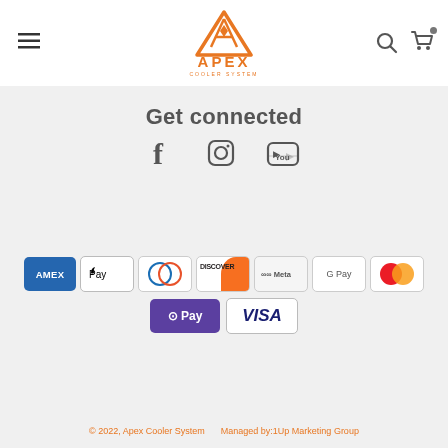[Figure (logo): Apex Cooler System logo — orange triangle/mountain shape above APEX text and COOLER SYSTEM subtitle]
Get connected
[Figure (illustration): Social media icons: Facebook, Instagram, YouTube]
[Figure (illustration): Payment method logos: AMEX, Apple Pay, Diners Club, Discover, Meta Pay, Google Pay, Mastercard, OPay, VISA]
© 2022, Apex Cooler System    Managed by:1Up Marketing Group